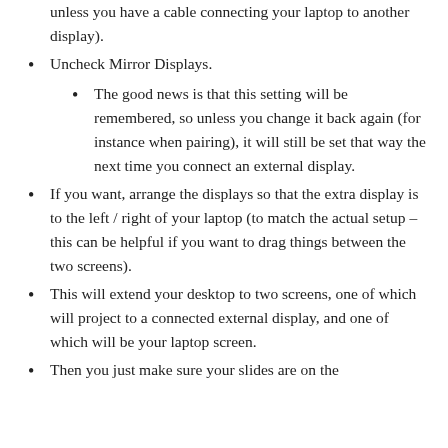unless you have a cable connecting your laptop to another display).
Uncheck Mirror Displays.
The good news is that this setting will be remembered, so unless you change it back again (for instance when pairing), it will still be set that way the next time you connect an external display.
If you want, arrange the displays so that the extra display is to the left / right of your laptop (to match the actual setup – this can be helpful if you want to drag things between the two screens).
This will extend your desktop to two screens, one of which will project to a connected external display, and one of which will be your laptop screen.
Then you just make sure your slides are on the